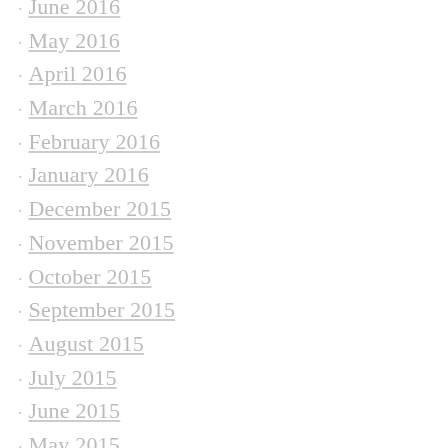June 2016
May 2016
April 2016
March 2016
February 2016
January 2016
December 2015
November 2015
October 2015
September 2015
August 2015
July 2015
June 2015
May 2015
April 2015
March 2015
November 2014